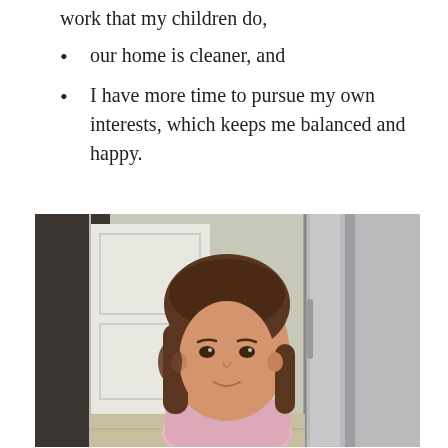work that my children do,
our home is cleaner, and
I have more time to pursue my own interests, which keeps me balanced and happy.
[Figure (photo): A young girl with brown shoulder-length hair wearing a light pink shirt, photographed in a kitchen with a white door and stainless steel refrigerator in the background.]